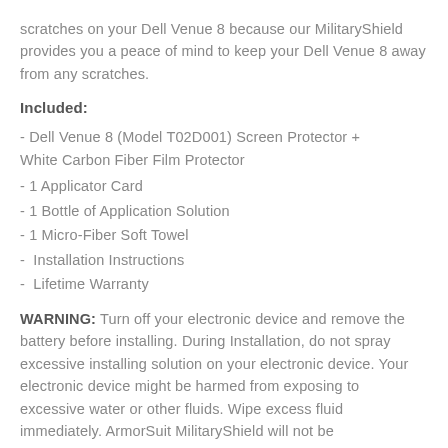scratches on your Dell Venue 8 because our MilitaryShield provides you a peace of mind to keep your Dell Venue 8 away from any scratches.
Included:
- Dell Venue 8 (Model T02D001) Screen Protector + White Carbon Fiber Film Protector
- 1 Applicator Card
- 1 Bottle of Application Solution
- 1 Micro-Fiber Soft Towel
-  Installation Instructions
-  Lifetime Warranty
WARNING: Turn off your electronic device and remove the battery before installing. During Installation, do not spray excessive installing solution on your electronic device. Your electronic device might be harmed from exposing to excessive water or other fluids. Wipe excess fluid immediately. ArmorSuit MilitaryShield will not be